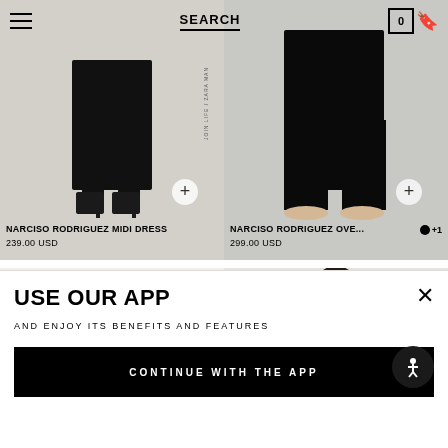SEARCH | Cart 0
[Figure (photo): Narciso Rodriguez midi dress product photo showing lower body with black dress and heeled ankle boots on light background, with collection label on side]
NARCISO RODRIGUEZ MIDI DRESS
239.00 USD
[Figure (photo): Narciso Rodriguez oversized product photo showing lower body with wide-leg black trousers and cream shoes on light background, with color swatch dot and +1]
NARCISO RODRIGUEZ OVE...
299.00 USD
[Figure (photo): Model with braids wearing light colored top, upper body visible on off-white background]
[Figure (photo): Model with short dark hair wearing light camisole, upper body visible on light background]
USE OUR APP
AND ENJOY ITS BENEFITS AND FEATURES
CONTINUE WITH THE APP